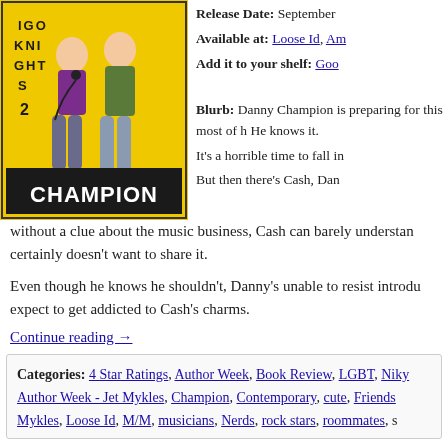[Figure (illustration): Book cover for 'Indigo Knights 2: Champion' showing two male figures on a yellow background with bold text 'CHAMPION' at the bottom.]
Release Date: September
Available at: Loose Id, Am
Add it to your shelf: Goo
Blurb: Danny Champion is preparing for this most of h He knows it.

It's a horrible time to fall in

But then there's Cash, Dan without a clue about the music business, Cash can barely understand certainly doesn't want to share it.
Even though he knows he shouldn't, Danny's unable to resist introdu expect to get addicted to Cash's charms.
Continue reading →
Categories: 4 Star Ratings, Author Week, Book Review, LGBT, Niky Author Week - Jet Mykles, Champion, Contemporary, cute, Friends Mykles, Loose Id, M/M, musicians, Nerds, rock stars, roommates, s